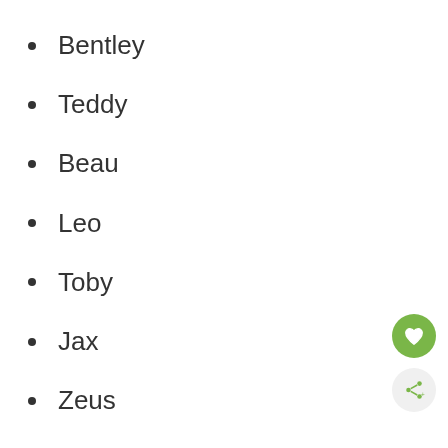Bentley
Teddy
Beau
Leo
Toby
Jax
Zeus